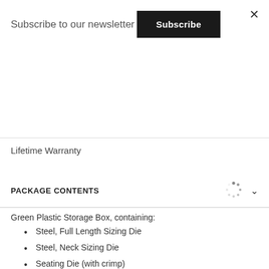Subscribe to our newsletter
Subscribe
Lifetime Warranty
PACKAGE CONTENTS
Green Plastic Storage Box, containing:
Steel, Full Length Sizing Die
Steel, Neck Sizing Die
Seating Die (with crimp)
Spare Decapping Pin
Allen Key
Printed Instructions
Redding Decal (Sticker)